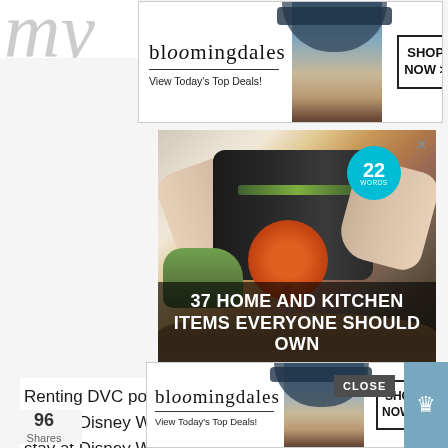[Figure (screenshot): Bloomingdales banner advertisement showing logo, 'View Today's Top Deals!' text, a model wearing a wide-brim hat, and a 'SHOP NOW >' button]
[Figure (photo): Advertisement image showing hands using a kitchen gadget (juicer/slicer) with a tomato, overlaid with '22 WORDS' teal badge and text '37 HOME AND KITCHEN ITEMS EVERYONE SHOULD OWN']
Renting DVC points is in no way the cheapest way to stay at Disney World. However, if you have goals to stay at Disney World, especially in a delu...ort
[Figure (screenshot): Second Bloomingdales banner advertisement at bottom of page with same design: logo, 'View Today's Top Deals!', model, and 'SHOP NOW >' button]
96 Shares